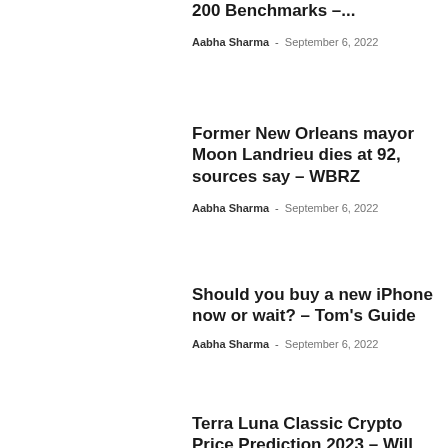200 Benchmarks –...
Aabha Sharma - September 6, 2022
Former New Orleans mayor Moon Landrieu dies at 92, sources say – WBRZ
Aabha Sharma - September 6, 2022
Should you buy a new iPhone now or wait? – Tom's Guide
Aabha Sharma - September 6, 2022
Terra Luna Classic Crypto Price Prediction 2023 – Will...